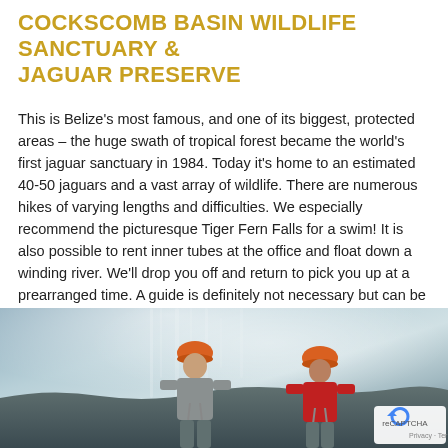COCKSCOMB BASIN WILDLIFE SANCTUARY & JAGUAR PRESERVE
This is Belize's most famous, and one of its biggest, protected areas – the huge swath of tropical forest became the world's first jaguar sanctuary in 1984. Today it's home to an estimated 40-50 jaguars and a vast array of wildlife. There are numerous hikes of varying lengths and difficulties. We especially recommend the picturesque Tiger Fern Falls for a swim! It is also possible to rent inner tubes at the office and float down a winding river. We'll drop you off and return to pick you up at a prearranged time. A guide is definitely not necessary but can be hired; just ask us.
[Figure (photo): Two people wearing orange helmets (one in gray shirt, one in red shirt) near a waterfall, rappelling or climbing on wet rocks with mist in the background. A reCAPTCHA Privacy-Terms badge appears in the bottom-right corner.]